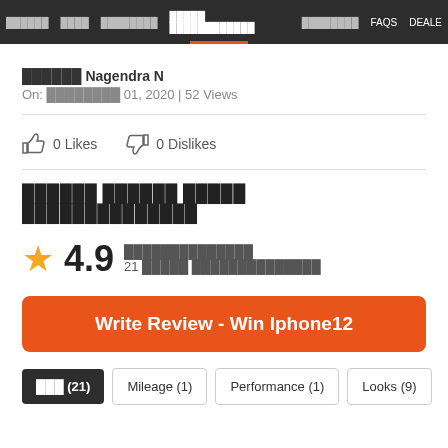Navigation bar with menu items in Tamil and English: FAQS, DEALER
██████ Nagendra N
On: ████████ 01, 2020 | 52 Views
0 Likes  0 Dislikes
██████ ██████ █████ ██████████████
★ 4.9  ██████████████
21 █████ ██████████████
Write Review - Win Iphone12
███ (21)  Mileage (1)  Performance (1)  Looks (9)